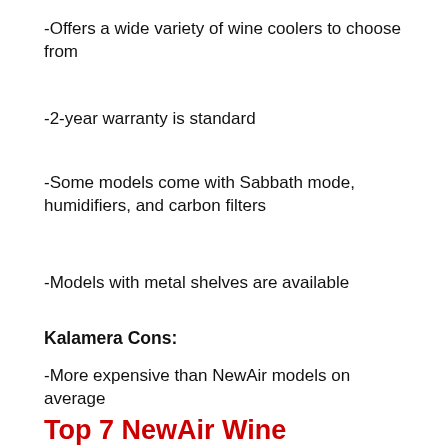-Offers a wide variety of wine coolers to choose from
-2-year warranty is standard
-Some models come with Sabbath mode, humidifiers, and carbon filters
-Models with metal shelves are available
Kalamera Cons:
-More expensive than NewAir models on average
Top 7 NewAir Wine